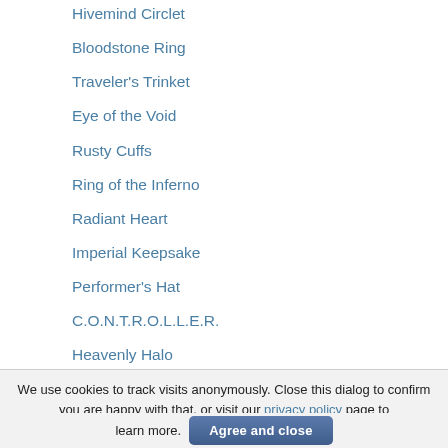Hivemind Circlet
Bloodstone Ring
Traveler's Trinket
Eye of the Void
Rusty Cuffs
Ring of the Inferno
Radiant Heart
Imperial Keepsake
Performer's Hat
C.O.N.T.R.O.L.L.E.R.
Heavenly Halo
Regal Ring
Omni-Impotence Ring
Cuband
Augur of the Tempest
We use cookies to track visits anonymously. Close this dialog to confirm you are happy with that, or visit our privacy policy page to learn more. Agree and close